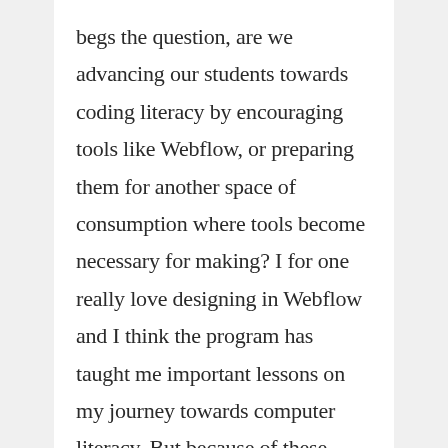begs the question, are we advancing our students towards coding literacy by encouraging tools like Webflow, or preparing them for another space of consumption where tools become necessary for making? I for one really love designing in Webflow and I think the program has taught me important lessons on my journey towards computer literacy. But because of these constraints, I am exploring other approaches and tools that combine visual design and coding literacy, where my students can become developers of digital spaces, not merely